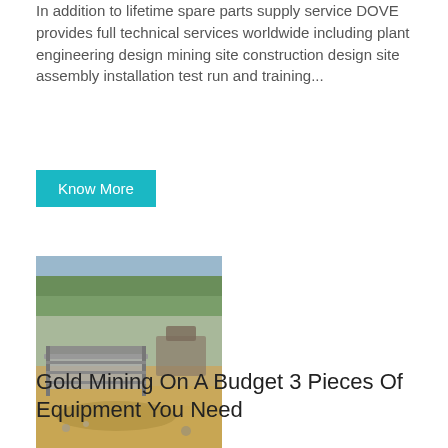In addition to lifetime spare parts supply service DOVE provides full technical services worldwide including plant engineering design mining site construction design site assembly installation test run and training...
Know More
[Figure (photo): Outdoor mining site showing metal sluice or wash plant equipment on sandy/muddy ground with vegetation in background]
Gold Mining On A Budget 3 Pieces Of Equipment You Need
Apr 21 2020 0183 32 This video shows the three most important pieces of gold milling equipment for processing ore and recovering gold These include a jaw crusher for crushing...